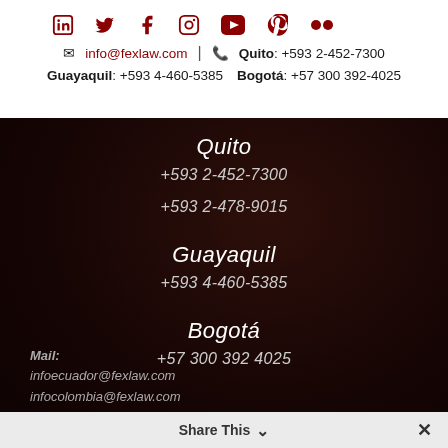[Figure (other): Social media icons row: LinkedIn, Twitter, Facebook, Instagram, YouTube, Pinterest, Flickr in dark red]
✉ info@fexlaw.com | 📞 Quito: +593 2-452-7300
Guayaquil: +593 4-460-5385  Bogotá: +57 300 392-4025
Quito
+593 2-452-7300
+593 2-478-9015
Guayaquil
+593 4-460-5385
Bogotá
+57 300 392 4025
Mail:
infoecuador@fexlaw.com
infocolombia@fexlaw.com
Share This ∨  ✕